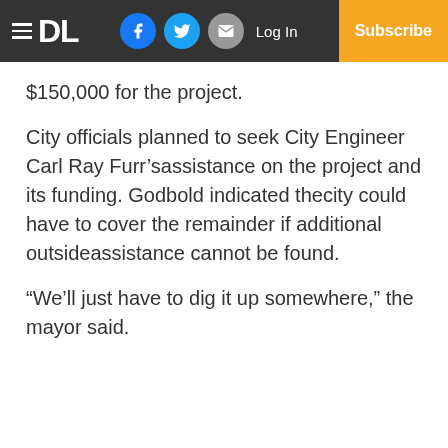DL | Log In | Subscribe
$150,000 for the project.
City officials planned to seek City Engineer Carl Ray Furr'sassistance on the project and its funding. Godbold indicated thecity could have to cover the remainder if additional outsideassistance cannot be found.
“We’ll just have to dig it up somewhere,” the mayor said.